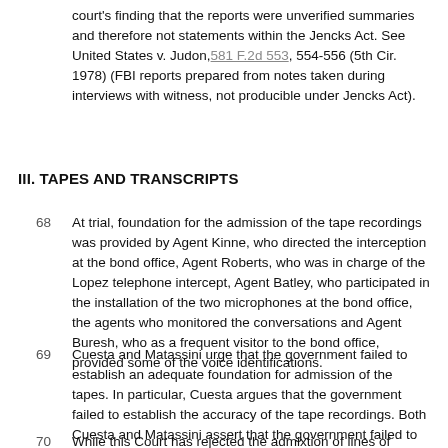court's finding that the reports were unverified summaries and therefore not statements within the Jencks Act. See United States v. Judon, 581 F.2d 553, 554-556 (5th Cir. 1978) (FBI reports prepared from notes taken during interviews with witness, not producible under Jencks Act).
III. TAPES AND TRANSCRIPTS
68  At trial, foundation for the admission of the tape recordings was provided by Agent Kinne, who directed the interception at the bond office, Agent Roberts, who was in charge of the Lopez telephone intercept, Agent Batley, who participated in the installation of the two microphones at the bond office, the agents who monitored the conversations and Agent Buresh, who as a frequent visitor to the bond office, provided some of the voice identifications.
69  Cuesta and Matassini urge that the government failed to establish an adequate foundation for admission of the tapes. In particular, Cuesta argues that the government failed to establish the accuracy of the tape recordings. Both Cuesta and Matassini assert that the government failed to adequately identify their voices on the tapes.
70  While this Court has rejected the admixtion of lines of conditions